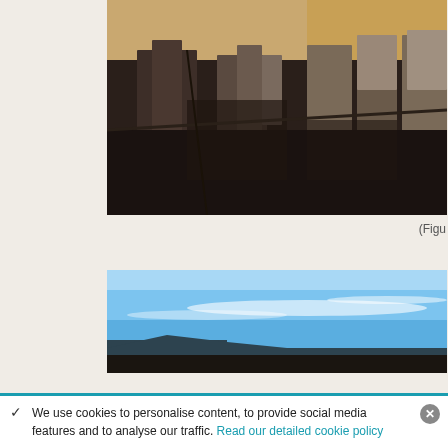[Figure (photo): Aerial view of a city with dark shadowed urban buildings and warm yellowish-brown tones at the edges, looking downward at a dense metropolitan area]
(Figu
[Figure (photo): Wide landscape photo showing a bright blue sky with thin white clouds and a dark landmass or mountain silhouette visible at the bottom]
We use cookies to personalise content, to provide social media features and to analyse our traffic. Read our detailed cookie policy